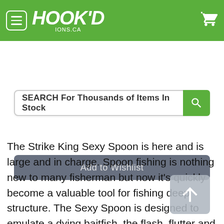HOOK'D IONS.CA
SEARCH For Thousands of Items In Stock
Add to Wishlist
⚠ Warning
The Strike King Sexy Spoon is here and is large and in charge. Spoon fishing is nothing new to many fisherman but now it's quickly become a valuable tool for fishing deep structure. The Sexy Spoon is designed to emulate a dying baitfish, the flash, flutter and fall of the Sexy Spoon is unlike any other spoon on the market. Fished around submerged brush, deep grass or muscle beds there is no wrong way to fish the Sexy Spoon. Most commonly retrieved by stroking the spoon, this technique yields some big fish! Once again, this is a big fish bait! Note: All Sexy